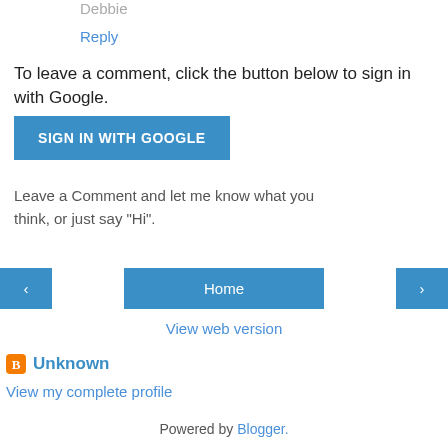Debbie
Reply
To leave a comment, click the button below to sign in with Google.
SIGN IN WITH GOOGLE
Leave a Comment and let me know what you think, or just say "Hi".
‹
Home
›
View web version
Unknown
View my complete profile
Powered by Blogger.